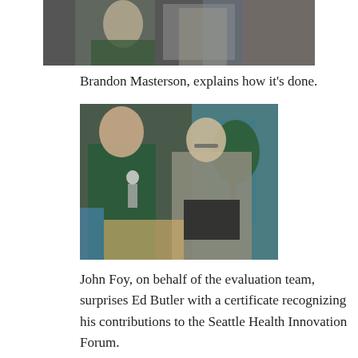[Figure (photo): Cropped top portion of a photo showing people at an event, partially visible]
Brandon Masterson, explains how it’s done.
[Figure (photo): John Foy presenting a certificate to Ed Butler at the Seattle Health Innovation Forum. Two men facing each other, one holding a microphone and one holding a folder/binder.]
John Foy, on behalf of the evaluation team, surprises Ed Butler with a certificate recognizing his contributions to the Seattle Health Innovation Forum.